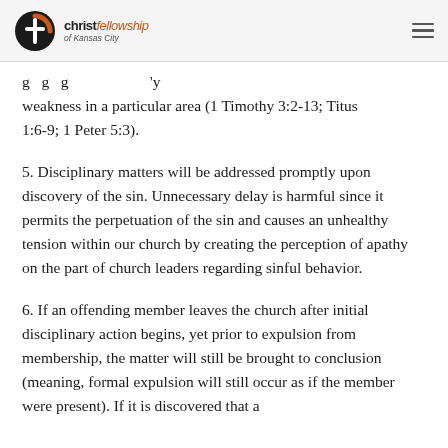christ fellowship of Kansas City
...g...g...g...'y weakness in a particular area (1 Timothy 3:2-13; Titus 1:6-9; 1 Peter 5:3).
5. Disciplinary matters will be addressed promptly upon discovery of the sin. Unnecessary delay is harmful since it permits the perpetuation of the sin and causes an unhealthy tension within our church by creating the perception of apathy on the part of church leaders regarding sinful behavior.
6. If an offending member leaves the church after initial disciplinary action begins, yet prior to expulsion from membership, the matter will still be brought to conclusion (meaning, formal expulsion will still occur as if the member were present). If it is discovered that a